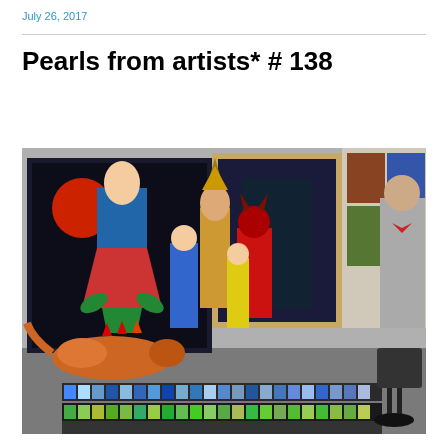July 26, 2017
Pearls from artists* # 138
[Figure (photo): A room with colorful folk art figurines (alebrijes and costumed figures) arranged on the floor in front of large framed paintings. In the foreground are trays of art supplies (pastels/paints). A black office chair is visible on the right.]